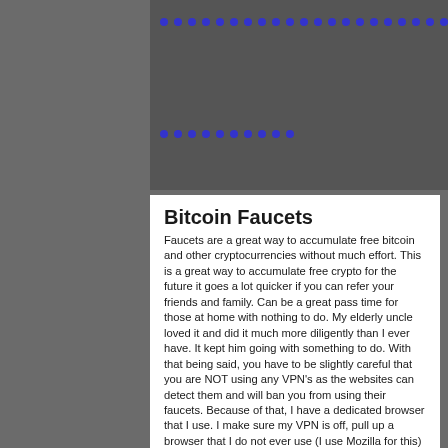Bitcoin Faucets
Faucets are a great way to accumulate free bitcoin and other cryptocurrencies without much effort. This is a great way to accumulate free crypto for the future it goes a lot quicker if you can refer your friends and family.  Can be a great pass time for those at home with nothing to do. My elderly uncle loved it and did it much more diligently than I ever have. It kept him going with something to do.  With that being said, you have to be slightly careful that you are NOT using any VPN's as the websites can detect them and will ban you from using their faucets.  Because of that, I have a dedicated browser that I use.  I make sure my VPN is off, pull up a browser that I do not ever use (I use Mozilla for this) and push the 'Restore